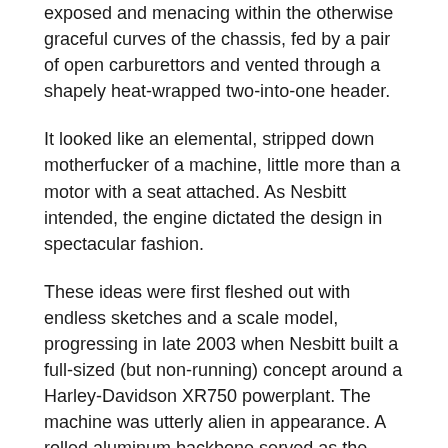exposed and menacing within the otherwise graceful curves of the chassis, fed by a pair of open carburettors and vented through a shapely heat-wrapped two-into-one header.
It looked like an elemental, stripped down motherfucker of a machine, little more than a motor with a seat attached. As Nesbitt intended, the engine dictated the design in spectacular fashion.
These ideas were first fleshed out with endless sketches and a scale model, progressing in late 2003 when Nesbitt built a full-sized (but non-running) concept around a Harley-Davidson XR750 powerplant. The machine was utterly alien in appearance. A rolled aluminum backbone served as the frame, with the rear shock mounted inside the spine at the rear supporting a single-sided swingarm.
A multilink girder fork with carbon-fibre blades inspired by the Britten V1000...